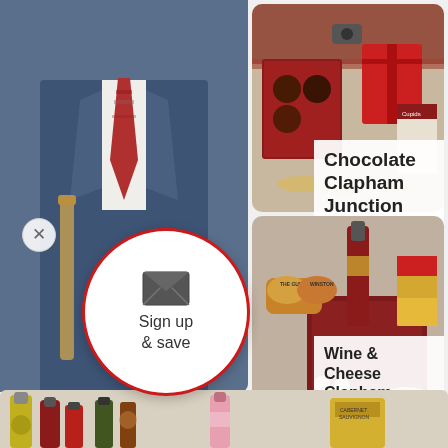[Figure (photo): Man in blue suit with patterned red tie and gold watch, holding a wooden item, blurred background]
[Figure (photo): Chocolate hamper basket with chocolates, biscuits and gift boxes]
Chocolate Clapham Junction Hampers
[Figure (photo): Wine and cheese hamper with red wine bottle, wax-sealed cheeses and crackers in a dark red box]
Wine & Cheese Clapham Junction Hampers
[Figure (photo): Bottom strip showing assorted wine bottles and food products]
[Figure (infographic): Sign up & save popup circle with envelope icon and red border]
Sign up & save